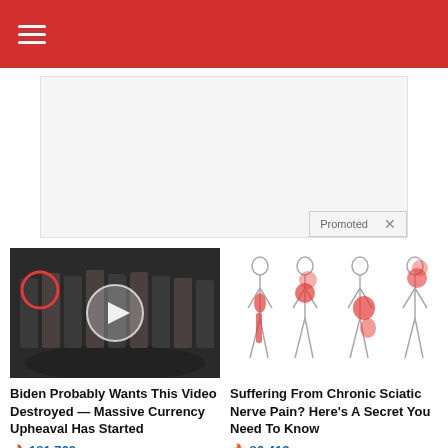≡
[Figure (screenshot): Advertisement banner area with 'Promoted x' label in bottom right]
[Figure (photo): Video thumbnail showing group of men in suits at CIA with play button overlay and red circle highlighting one person]
Biden Probably Wants This Video Destroyed — Massive Currency Upheaval Has Started
🔥 181,769
[Figure (illustration): Medical illustration showing body outlines with red highlighted pain areas for sciatic nerve pain]
Suffering From Chronic Sciatic Nerve Pain? Here's A Secret You Need To Know
🔥 86,413